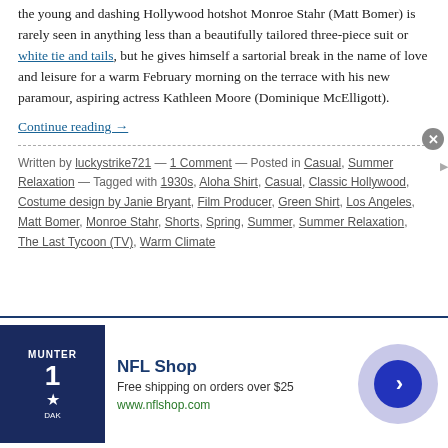the young and dashing Hollywood hotshot Monroe Stahr (Matt Bomer) is rarely seen in anything less than a beautifully tailored three-piece suit or white tie and tails, but he gives himself a sartorial break in the name of love and leisure for a warm February morning on the terrace with his new paramour, aspiring actress Kathleen Moore (Dominique McElligott).
Continue reading →
Written by luckystrike721 — 1 Comment — Posted in Casual, Summer Relaxation — Tagged with 1930s, Aloha Shirt, Casual, Classic Hollywood, Costume design by Janie Bryant, Film Producer, Green Shirt, Los Angeles, Matt Bomer, Monroe Stahr, Shorts, Spring, Summer, Summer Relaxation, The Last Tycoon (TV), Warm Climate
[Figure (screenshot): Advertisement banner: NFL Shop ad with jersey image, 'Free shipping on orders over $25', www.nflshop.com, with infolinks badge and date 4, 2018]